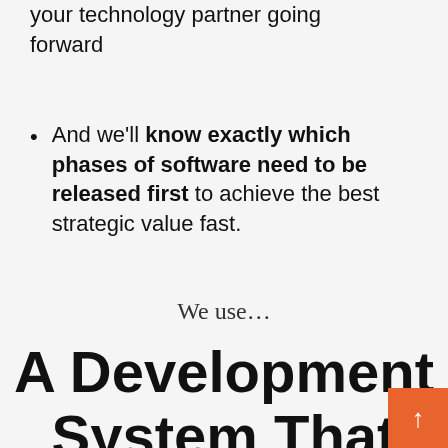your technology partner going forward
And we'll know exactly which phases of software need to be released first to achieve the best strategic value fast.
We use...
A Development System That Keeps Improving As It's